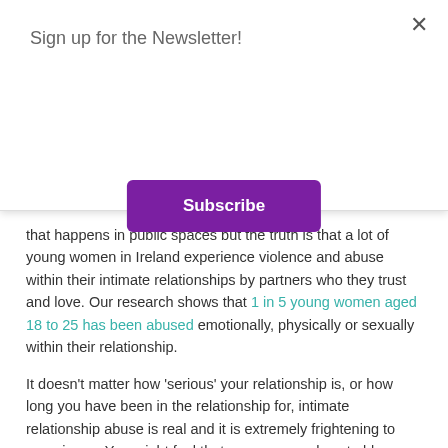Sign up for the Newsletter!
Subscribe
that happens in public spaces but the truth is that a lot of young women in Ireland experience violence and abuse within their intimate relationships by partners who they trust and love. Our research shows that 1 in 5 young women aged 18 to 25 has been abused emotionally, physically or sexually within their relationship.
It doesn't matter how 'serious' your relationship is, or how long you have been in the relationship for, intimate relationship abuse is real and it is extremely frightening to experience. You might feel that you are somehow to blame for the abuse because of the way your partner, and other people have made you feel but that is not true. Your partner is the one responsible for the abuse.
Juliana Shiel who is a survivor of intimate relationship abuse and an ambassador for the Too Into You project told us recently: